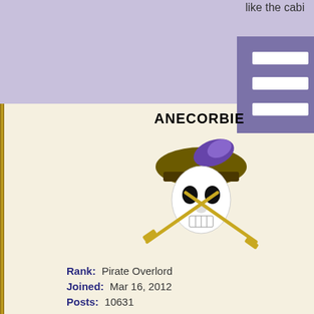like the cabi...
ANECORBIE
[Figure (illustration): Pirate skull with crossed swords and feathered hat logo for user ANECORBIE]
Rank: Pirate Overlord
Joined: Mar 16, 2012
Posts: 10631
Re: Small drea...
Oran from Urz on Aug 1, 20...
After Ratbeard's recent pos... fixing" department for Pira... dedicated to Pirate101.
I remember hearing about t... it. Early on, when I first hea... worked ( it did ) and then I d... because I went into detail o... KingsIsle has therefore kno... announcement that this exp... Should we just report those after engaging in the exploi... Closing the ability to use thi...